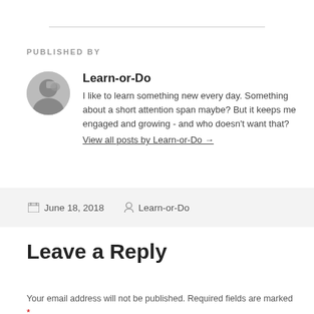PUBLISHED BY
Learn-or-Do
I like to learn something new every day. Something about a short attention span maybe? But it keeps me engaged and growing - and who doesn't want that?
View all posts by Learn-or-Do →
June 18, 2018   Learn-or-Do
Leave a Reply
Your email address will not be published. Required fields are marked *